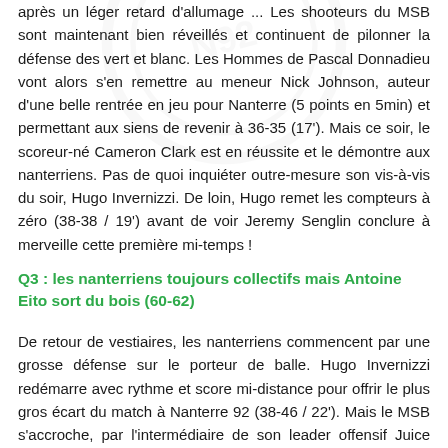après un léger retard d'allumage ... Les shooteurs du MSB sont maintenant bien réveillés et continuent de pilonner la défense des vert et blanc. Les Hommes de Pascal Donnadieu vont alors s'en remettre au meneur Nick Johnson, auteur d'une belle rentrée en jeu pour Nanterre (5 points en 5min) et permettant aux siens de revenir à 36-35 (17'). Mais ce soir, le scoreur-né Cameron Clark est en réussite et le démontre aux nanterriens. Pas de quoi inquiéter outre-mesure son vis-à-vis du soir, Hugo Invernizzi. De loin, Hugo remet les compteurs à zéro (38-38 / 19') avant de voir Jeremy Senglin conclure à merveille cette première mi-temps !
Q3 : les nanterriens toujours collectifs mais Antoine Eito sort du bois (60-62)
De retour de vestiaires, les nanterriens commencent par une grosse défense sur le porteur de balle. Hugo Invernizzi redémarre avec rythme et score mi-distance pour offrir le plus gros écart du match à Nanterre 92 (38-46 / 22'). Mais le MSB s'accroche, par l'intermédiaire de son leader offensif Juice Thompson, et reste au contact. Il faudra un premier tir marqué de loin par Kendrick Ray...